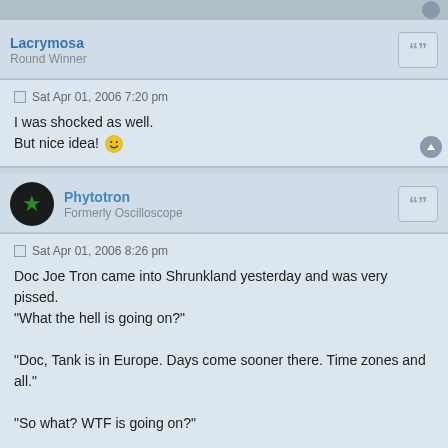Lacrymosa
Round Winner
Sat Apr 01, 2006 7:20 pm
I was shocked as well.
But nice idea! :)
Phytotron
Formerly Oscilloscope
Sat Apr 01, 2006 8:26 pm
Doc Joe Tron came into Shrunkland yesterday and was very pissed.
"What the hell is going on?"

"Doc, Tank is in Europe. Days come sooner there. Time zones and all."

"So what? WTF is going on?"

"It's already tomorrow where he is."